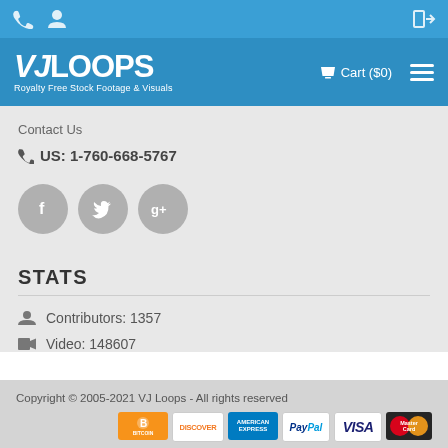VJ Loops - Royalty Free Stock Footage & Visuals | Cart ($0)
Contact Us
US: 1-760-668-5767
[Figure (infographic): Social media icons: Facebook (f), Twitter (bird), Google+ (g+) as gray circles]
STATS
Contributors: 1357
Video: 148607
Copyright © 2005-2021 VJ Loops - All rights reserved